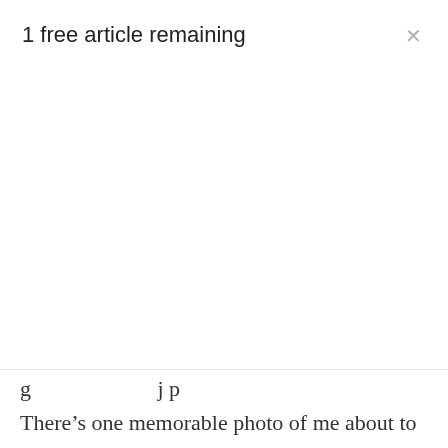1 free article remaining
g ... j p
There’s one memorable photo of me about to burst out in inexplicable tears at 16 on Christmas Eve unwrapping gifts that sticks out